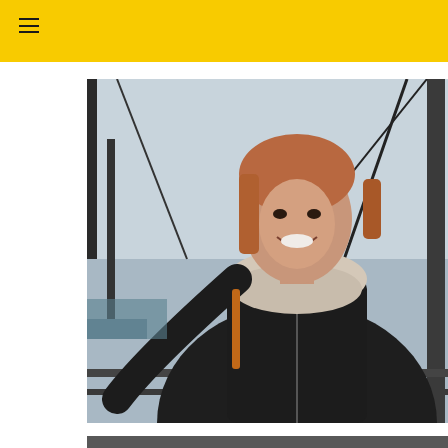≡ (hamburger menu icon)
[Figure (photo): Young woman with reddish-brown hair smiling, wearing a black zip-up jacket and light scarf, standing outdoors at an elevated location with iron railings and city view in background]
WELCOME
I'm Emily, 24 and living in bonnie Scotland. As an Archaeologist, I love sharing the history and heritage of